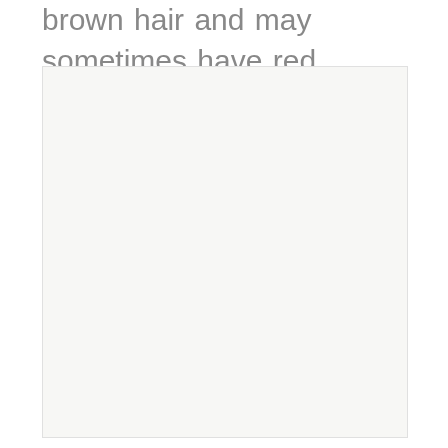brown hair and may sometimes have red or blonde tints or strands.
[Figure (photo): A mostly blank/white image placeholder with light gray background, nearly empty.]